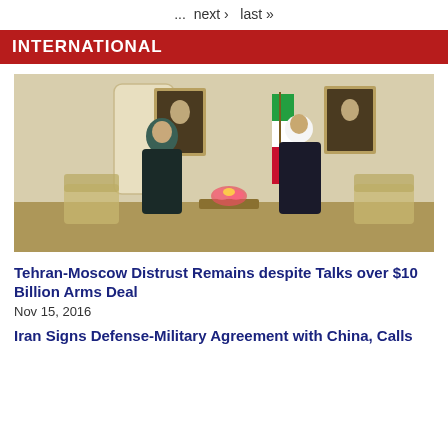... next › last »
INTERNATIONAL
[Figure (photo): Two people standing in a formal room with portraits on the wall and an Iranian flag. A woman in dark clothing and headscarf stands on the left; a man in clerical robes and white turban stands on the right.]
Tehran-Moscow Distrust Remains despite Talks over $10 Billion Arms Deal
Nov 15, 2016
Iran Signs Defense-Military Agreement with China, Calls